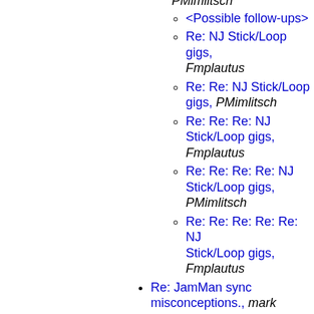<Possible follow-ups>
Re: NJ Stick/Loop gigs, Fmplautus
Re: Re: NJ Stick/Loop gigs, PMimlitsch
Re: Re: Re: NJ Stick/Loop gigs, Fmplautus
Re: Re: Re: Re: NJ Stick/Loop gigs, PMimlitsch
Re: Re: Re: Re: Re: NJ Stick/Loop gigs, Fmplautus
Re: JamMan sync misconceptions., mark sottilaro
Robert Fripp ALONE, Julia & Dave
<Possible follow-ups>
Re: Robert Fripp ALONE, Salazzar2
No Subject, lwordsman
<Possible follow-ups>